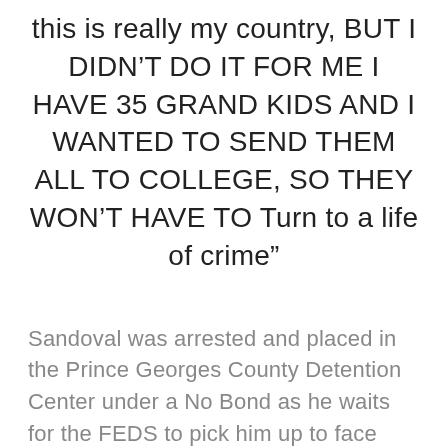this is really my country, BUT I DIDN’T DO IT FOR ME I HAVE 35 GRAND KIDS AND I WANTED TO SEND THEM ALL TO COLLEGE, SO THEY WON’T HAVE TO Turn to a life of crime”
Sandoval was arrested and placed in the Prince Georges County Detention Center under a No Bond as he waits for the FEDS to pick him up to face RICO Charges. No court date is currently listed.